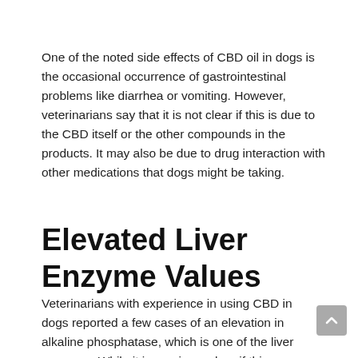One of the noted side effects of CBD oil in dogs is the occasional occurrence of gastrointestinal problems like diarrhea or vomiting. However, veterinarians say that it is not clear if this is due to the CBD itself or the other compounds in the products. It may also be due to drug interaction with other medications that dogs might be taking.
Elevated Liver Enzyme Values
Veterinarians with experience in using CBD in dogs reported a few cases of an elevation in alkaline phosphatase, which is one of the liver enzymes. While it is, again, unclear if this elevation is due to CBD itself or its interaction with other current medications, the good thing is that it is reversible once the administration of